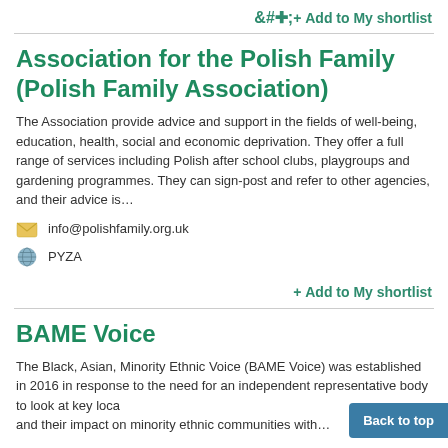+ Add to My shortlist
Association for the Polish Family (Polish Family Association)
The Association provide advice and support in the fields of well-being, education, health, social and economic deprivation. They offer a full range of services including Polish after school clubs, playgroups and gardening programmes. They can sign-post and refer to other agencies, and their advice is…
info@polishfamily.org.uk
PYZA
+ Add to My shortlist
BAME Voice
The Black, Asian, Minority Ethnic Voice (BAME Voice) was established in 2016 in response to the need for an independent representative body to look at key local… and their impact on minority ethnic communities with…